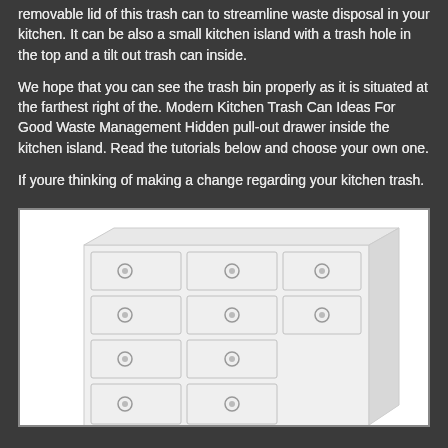removable lid of this trash can to streamline waste disposal in your kitchen. It can be also a small kitchen island with a trash hole in the top and a tilt out trash can inside.
We hope that you can see the trash bin properly as it is situated at the farthest right of the. Modern Kitchen Trash Can Ideas For Good Waste Management Hidden pull-out drawer inside the kitchen island. Read the tutorials below and choose your own one.
If youre thinking of making a change regarding your kitchen trash.
[Figure (photo): A white dresser/chest of drawers with multiple drawers arranged in rows, each drawer having a small circular knob handle. The dresser appears to be viewed at a slight angle showing its front and side.]